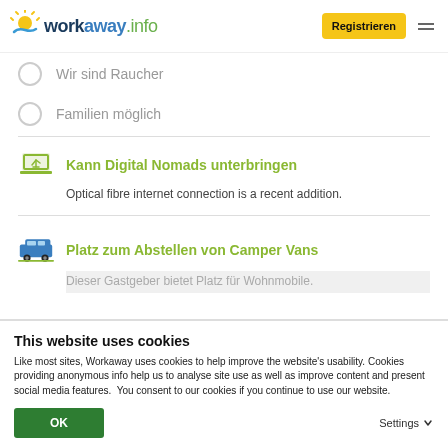workaway.info — Registrieren
Wir sind Raucher
Familien möglich
Kann Digital Nomads unterbringen
Optical fibre internet connection is a recent addition.
Platz zum Abstellen von Camper Vans
Dieser Gastgeber bietet Platz für Wohnmobile.
This website uses cookies
Like most sites, Workaway uses cookies to help improve the website's usability. Cookies providing anonymous info help us to analyse site use as well as improve content and present social media features.  You consent to our cookies if you continue to use our website.
OK   Settings